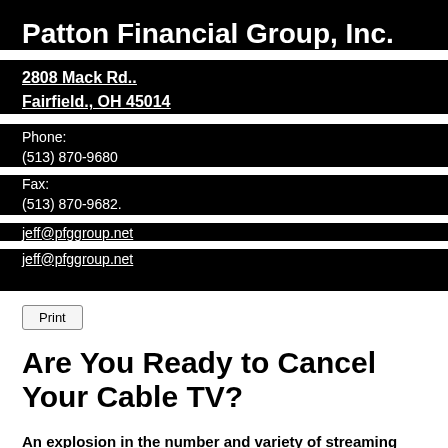Patton Financial Group, Inc.
2808 Mack Rd..
Fairfield., OH 45014
Phone:
(513) 870-9680
Fax:
(513) 870-9682.
jeff@pfggroup.net
jeff@pfggroup.net
Print
Are You Ready to Cancel Your Cable TV?
An explosion in the number and variety of streaming services, coupled with the high cost of cable and